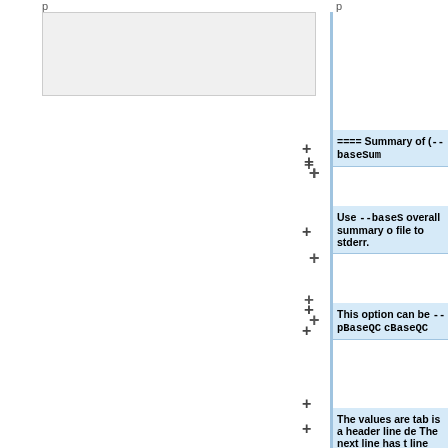[Figure (screenshot): Diff view of documentation page showing added lines on the right side with blue highlighting. Left side shows a gray empty box (old content). Right side shows new content blocks with plus signs indicating additions. Content includes sections about Summary of --baseSum option, use of --baseS option for overall summary, notes about --pBaseQC and cBaseQC options, and tabulated values with header lines.]
==== Summary of (<code>--baseSum</code>
Use <code>--baseS</code> overall summary o file to stderr.
This option can be <code>--pBaseQC</code> cBaseQC</code>
The values are tab is a header line de The next line has t line has the Standa